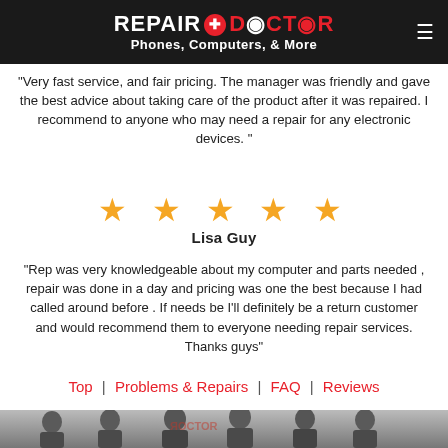REPAIR DOCTOR - Phones, Computers, & More
"Very fast service, and fair pricing. The manager was friendly and gave the best advice about taking care of the product after it was repaired. I recommend to anyone who may need a repair for any electronic devices. "
[Figure (other): Five gold star rating icons]
Lisa Guy
"Rep was very knowledgeable about my computer and parts needed , repair was done in a day and pricing was one the best because I had called around before . If needs be I'll definitely be a return customer and would recommend them to everyone needing repair services. Thanks guys"
Top | Problems & Repairs | FAQ | Reviews
[Figure (photo): Group photo of Repair Doctor store staff smiling in front of a store with the Repair Doctor logo visible in the background]